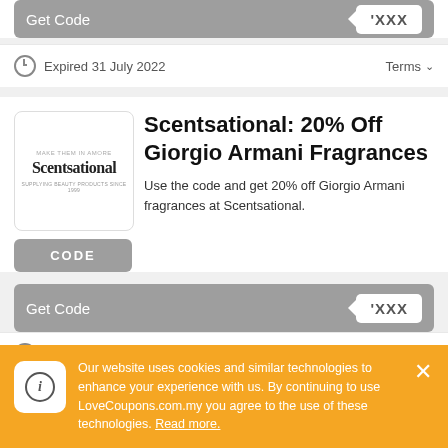[Figure (screenshot): Get Code button bar with grey background and 'XXX' code tag on right (top partial coupon)]
Expired 31 July 2022
Terms
[Figure (logo): Scentsational logo box with brand name and tagline 'SUPPLYING BEAUTY PRODUCTS SINCE 1999']
Scentsational: 20% Off Giorgio Armani Fragrances
Use the code and get 20% off Giorgio Armani fragrances at Scentsational.
[Figure (screenshot): Get Code button bar with grey background and 'XXX' code tag on right (second coupon)]
Expired 24 July 2022
Terms
Our website uses cookies and similar technologies to enhance your experience with us. By continuing to use LoveCoupons.com.my you agree to the use of these technologies. Read more.